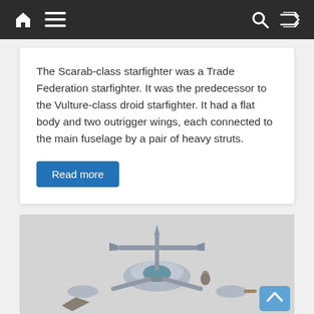Navigation bar with home, menu, search, and shuffle icons
The Scarab-class starfighter was a Trade Federation starfighter. It was the predecessor to the Vulture-class droid starfighter. It had a flat body and two outrigger wings, each connected to the main fuselage by a pair of heavy struts.
Read more
[Figure (illustration): Illustrated image of a Scarab-class starfighter spacecraft, a grey futuristic fighter with outrigger wings and a cockpit, shown from a top-front angle against a light grey background. A scroll-to-top chevron button is visible in the bottom right corner.]